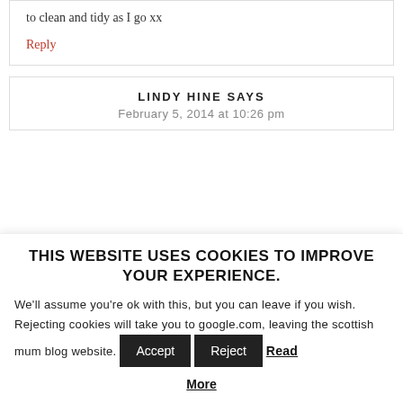to clean and tidy as I go xx
Reply
LINDY HINE SAYS
February 5, 2014 at 10:26 pm
THIS WEBSITE USES COOKIES TO IMPROVE YOUR EXPERIENCE.
We'll assume you're ok with this, but you can leave if you wish. Rejecting cookies will take you to google.com, leaving the scottish mum blog website.
Accept
Reject
Read More